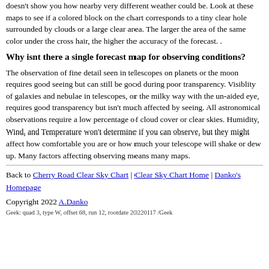doesn't show you how nearby very different weather could be. Look at these maps to see if a colored block on the chart corresponds to a tiny clear hole surrounded by clouds or a large clear area. The larger the area of the same color under the cross hair, the higher the accuracy of the forecast. .
Why isnt there a single forecast map for observing conditions?
The observation of fine detail seen in telescopes on planets or the moon requires good seeing but can still be good during poor transparency. Visiblity of galaxies and nebulae in telescopes, or the milky way with the un-aided eye, requires good transparency but isn't much affected by seeing. All astronomical observations require a low percentage of cloud cover or clear skies. Humidity, Wind, and Temperature won't determine if you can observe, but they might affect how comfortable you are or how much your telescope will shake or dew up. Many factors affecting observing means many maps.
Back to Cherry Road Clear Sky Chart | Clear Sky Chart Home | Danko's Homepage
Copyright 2022 A.Danko
Geek: quad 3, type W, offset 68, run 12, rootdate 20220117 /Geek